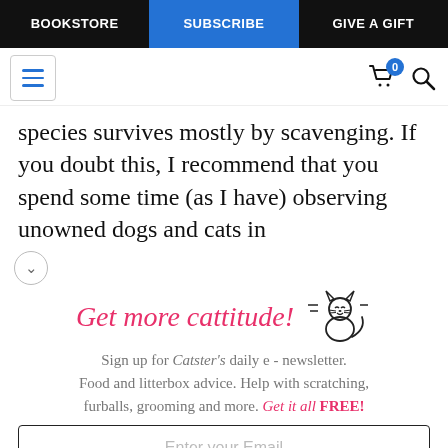BOOKSTORE | SUBSCRIBE | GIVE A GIFT
species survives mostly by scavenging. If you doubt this, I recommend that you spend some time (as I have) observing unowned dogs and cats in
[Figure (illustration): Cat line drawing illustration next to 'Get more cattitude!' promotional heading]
Sign up for Catster's daily e - newsletter. Food and litterbox advice. Help with scratching, furballs, grooming and more. Get it all FREE!
Enter your Email
YES! SIGN ME UP